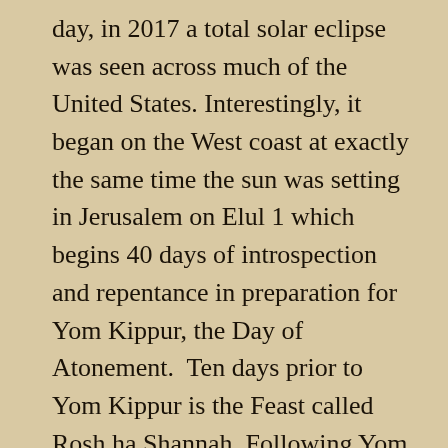day, in 2017 a total solar eclipse was seen across much of the United States. Interestingly, it began on the West coast at exactly the same time the sun was setting in Jerusalem on Elul 1 which begins 40 days of introspection and repentance in preparation for Yom Kippur, the Day of Atonement.  Ten days prior to Yom Kippur is the Feast called Rosh ha Shannah. Following Yom Kippur is Sukkot or Feast of Tabernacles. (These will be explained in detail in future blogs.)
On that Elul 1, in 2017 I was prompted to turn on the Weather Channel and watched the solar eclipse take place from city to